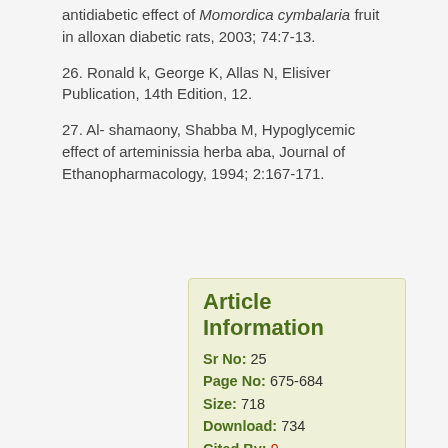antidiabetic effect of Momordica cymbalaria fruit in alloxan diabetic rats, 2003; 74:7-13.
26. Ronald k, George K, Allas N, Elisiver Publication, 14th Edition, 12.
27. Al- shamaony, Shabba M, Hypoglycemic effect of arteminissia herba aba, Journal of Ethanopharmacology, 1994; 2:167-171.
| Sr No: | 25 |
| Page No: | 675-684 |
| Size: | 718 |
| Download: | 734 |
| Cited By: | 9 |
| Language: |  |